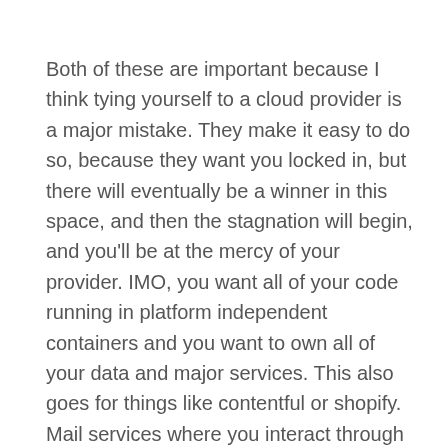Both of these are important because I think tying yourself to a cloud provider is a major mistake. They make it easy to do so, because they want you locked in, but there will eventually be a winner in this space, and then the stagnation will begin, and you'll be at the mercy of your provider. IMO, you want all of your code running in platform independent containers and you want to own all of your data and major services. This also goes for things like contentful or shopify. Mail services where you interact through a standard smtp api are probably fine, but not like the aws mailer api, since you are adding aws code to your codebase. Sure, you can try to hide it behind a service interface, but it's like trying to hide your application from your DB. Even the repository pattern rarely makes you completely safe from